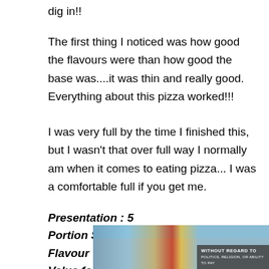dig in!!
The first thing I noticed was how good the flavours were than how good the base was....it was thin and really good. Everything about this pizza worked!!!
I was very full by the time I finished this, but I wasn't that over full way I normally am when it comes to eating pizza... I was a comfortable full if you get me.
Presentation : 5
Portion Size : 5
Flavour : 5
Value for Money : 5
[Figure (photo): Airplane being loaded with cargo on a tarmac, with a dark overlay banner reading WITHOUT REGARD TO (additional text below in smaller print)]